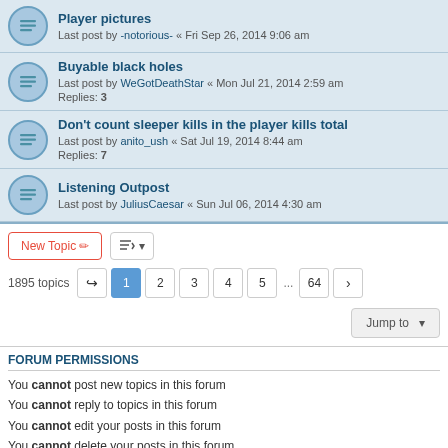Player pictures – Last post by -notorious- « Fri Sep 26, 2014 9:06 am
Buyable black holes – Last post by WeGotDeathStar « Mon Jul 21, 2014 2:59 am – Replies: 3
Don't count sleeper kills in the player kills total – Last post by anito_ush « Sat Jul 19, 2014 8:44 am – Replies: 7
Listening Outpost – Last post by JuliusCaesar « Sun Jul 06, 2014 4:30 am
1895 topics  1 2 3 4 5 ... 64
Jump to
FORUM PERMISSIONS
You cannot post new topics in this forum
You cannot reply to topics in this forum
You cannot edit your posts in this forum
You cannot delete your posts in this forum
Home · Board index   All times are UTC
Powered by phpBB® Forum Software © phpBB Limited